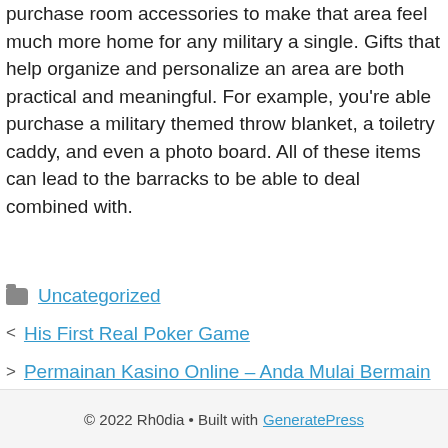purchase room accessories to make that area feel much more home for any military a single. Gifts that help organize and personalize an area are both practical and meaningful. For example, you're able purchase a military themed throw blanket, a toiletry caddy, and even a photo board. All of these items can lead to the barracks to be able to deal combined with.
Uncategorized
His First Real Poker Game
Permainan Kasino Online – Anda Mulai Bermain Di Zaman Sekarang!
© 2022 Rh0dia • Built with GeneratePress